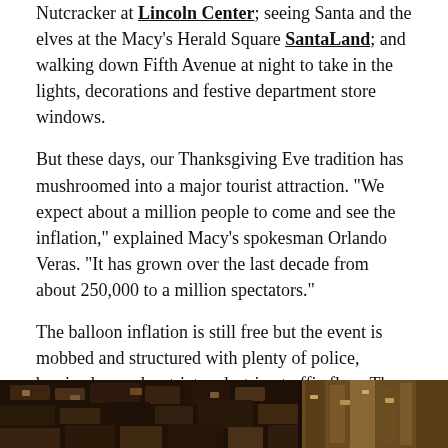Nutcracker at Lincoln Center; seeing Santa and the elves at the Macy's Herald Square SantaLand; and walking down Fifth Avenue at night to take in the lights, decorations and festive department store windows.
But these days, our Thanksgiving Eve tradition has mushroomed into a major tourist attraction. "We expect about a million people to come and see the inflation," explained Macy's spokesman Orlando Veras. "It has grown over the last decade from about 250,000 to a million spectators."
The balloon inflation is still free but the event is mobbed and structured with plenty of police, barricades, and a strict pedestrian traffic flow. The neighborhood braces for the street closings and waves of excited families and spectators.
[Figure (photo): A partial photo strip at the bottom of the page showing a crowd or outdoor scene with dark, mottled colors suggesting people and structures.]